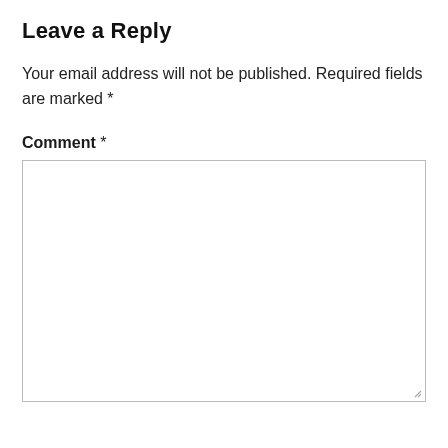Leave a Reply
Your email address will not be published. Required fields are marked *
Comment *
[Figure (other): Empty comment text area input box with resize handle in bottom right corner]